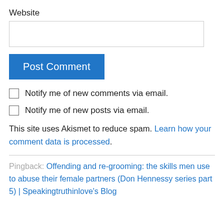Website
Post Comment
Notify me of new comments via email.
Notify me of new posts via email.
This site uses Akismet to reduce spam. Learn how your comment data is processed.
Pingback: Offending and re-grooming: the skills men use to abuse their female partners (Don Hennessy series part 5) | Speakingtruthinlove's Blog